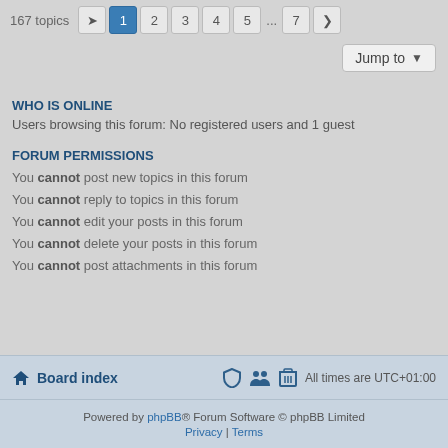167 topics  1 2 3 4 5 ... 7 >
Jump to
WHO IS ONLINE
Users browsing this forum: No registered users and 1 guest
FORUM PERMISSIONS
You cannot post new topics in this forum
You cannot reply to topics in this forum
You cannot edit your posts in this forum
You cannot delete your posts in this forum
You cannot post attachments in this forum
Board index   All times are UTC+01:00
Powered by phpBB® Forum Software © phpBB Limited  Privacy | Terms